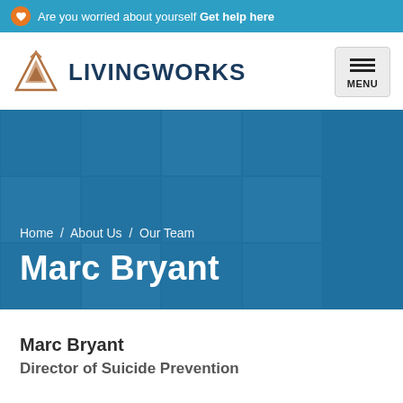Are you worried about yourself Get help here
[Figure (logo): LivingWorks logo — mountain triangle icon in bronze/gold with text LIVINGWORKS in dark navy]
Home / About Us / Our Team
Marc Bryant
Marc Bryant
Director of Suicide Prevention